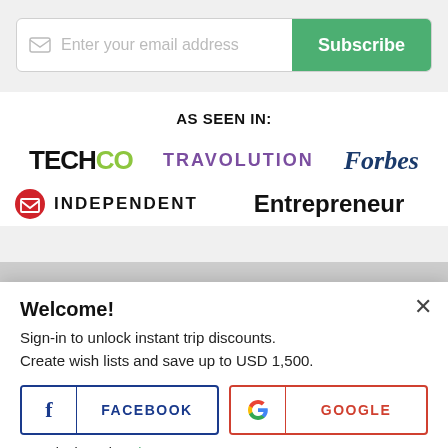[Figure (screenshot): Email subscription bar with envelope icon placeholder text 'Enter your email address' and green 'Subscribe' button]
AS SEEN IN:
[Figure (logo): TECHCO logo in black and green]
[Figure (logo): TRAVOLUTION logo in purple]
[Figure (logo): Forbes logo in dark blue italic serif]
[Figure (logo): Independent logo with red/white icon and uppercase text]
[Figure (logo): Entrepreneur logo in bold black]
Welcome!
Sign-in to unlock instant trip discounts.
Create wish lists and save up to USD 1,500.
[Figure (screenshot): Facebook login button with blue border, f icon, and FACEBOOK label]
[Figure (screenshot): Google login button with red border, G icon, and GOOGLE label]
More login options here.